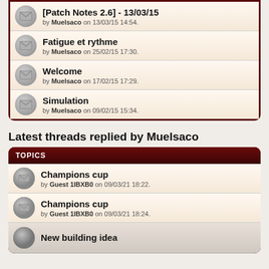[Patch Notes 2.6] - 13/03/15 by Muelsaco on 13/03/15 14:54.
Fatigue et rythme by Muelsaco on 25/02/15 17:30.
Welcome by Muelsaco on 17/02/15 17:29.
Simulation by Muelsaco on 09/02/15 15:34.
Latest threads replied by Muelsaco
Champions cup by Guest 1IBXB0 on 09/03/21 18:22.
Champions cup by Guest 1IBXB0 on 09/03/21 18:24.
New building idea